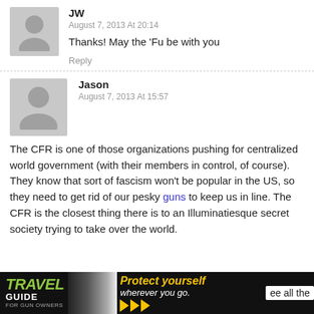JW
August 7, 2013 At 20:14
Thanks! May the 'Fu be with you
Reply
Jason
August 7, 2013 At 15:57
The CFR is one of those organizations pushing for centralized world government (with their members in control, of course). They know that sort of fascism won't be popular in the US, so they need to get rid of our pesky guns to keep us in line. The CFR is the closest thing there is to an Illuminatiesque secret society trying to take over the world.
[Figure (photo): Travel Guide for Gun Owners advertisement banner with text 'Protect yourself wherever you go.' and arrows, partially overlapping with the comment text 'ee all the']